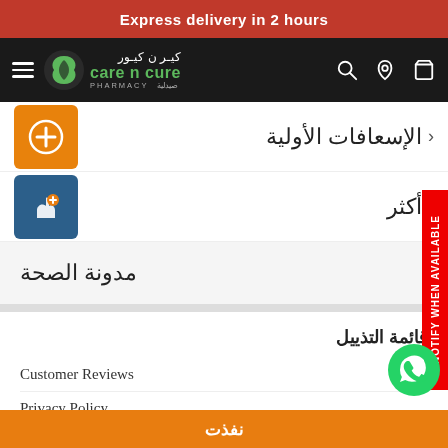Express delivery in 2 hours
[Figure (logo): Care N Cure Pharmacy logo with Arabic text and green leaf icon on dark navbar]
الإسعافات الأولية
أكثر
مدونة الصحة
قائمة التذييل
Customer Reviews
Privacy Policy
Terms of Service
نفذت